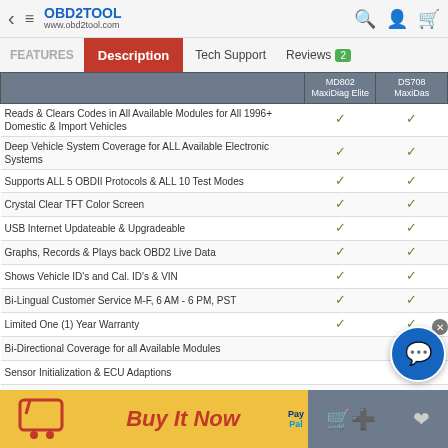OBD2TOOL www.obd2tool.com
Description | Tech Support | Reviews 2
|  | MD802 MaxiDiag Elite | DS708 MaxiDas |
| --- | --- | --- |
| Reads & Clears Codes in All Available Modules for All 1996+ Domestic & Import Vehicles | ✓ | ✓ |
| Deep Vehicle System Coverage for ALL Available Electronic Systems | ✓ | ✓ |
| Supports ALL 5 OBDII Protocols & ALL 10 Test Modes | ✓ | ✓ |
| Crystal Clear TFT Color Screen | ✓ | ✓ |
| USB Internet Updateable & Upgradeable | ✓ | ✓ |
| Graphs, Records & Plays back OBD2 Live Data | ✓ | ✓ |
| Shows Vehicle ID's and Cal. ID's & VIN | ✓ | ✓ |
| Bi-Lingual Customer Service M-F, 6 AM - 6 PM, PST | ✓ | ✓ |
| Limited One (1) Year Warranty | ✓ | ✓ |
| Bi-Directional Coverage for all Available Modules |  | ✓ |
| Sensor Initialization & ECU Adaptions |  | ✓ |
| Coding & Module Set Ups |  | ✓ |
| Immobilizers & Key Coding Functions |  | ✓ |
| Component Activation Testing |  | ✓ |
| Captures, Saves & Prints Screenshots for Convenient Troubleshooting |  | ✓ |
| Remote Display & Control for Convenient Demonstration & Training |  | ✓ |
| Display Live Data In Text, Graph & Analog for Easy Data Review |  | ✓ |
| Wi-Fi Capability for Updates and Printing |  | ✓ |
| Internet Explorer Brings On-line Resources of Your Choice |  | ✓ |
| Data Logging Allows Quick & Accurate Technical Support |  | ✓ |
| O.E. Style Menus and Functions |  | ✓ |
| Large 7 inch 800 x 480 Pixel TFT Crystal Clear Color Display |  | ✓ |
Buy It Now | PayPal